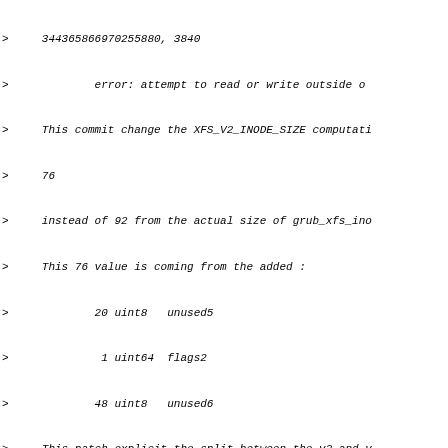344365866970255880, 3840
        error: attempt to read or write outside o
This commit change the XFS_V2_INODE_SIZE computati
76
instead of 92 from the actual size of grub_xfs_ino
This 76 value is coming from the added :
        20 uint8   unused5
         1 uint64  flags2
        48 uint8   unused6
This patch explicit the split between the v2 and v
structure.
The unused4 is still ending to the v2 structures a
at unused5.
This will avoid future corruption of v2 or v3.
The XFS_V2_INODE_SIZE is returning to its expected
filesystem is back to a readable state.
                        GNU GRUB  version 2.11

        ....
        grub> set debug=efi,gpt,xfs
        grub> insmod part_gpt
        grub> ls (hd0,gpt1)/
        partmap/gpt.c:93: Read a valid GPT header
        partmap/gpt.c:115: GPT entry 0: start=4096
        fs/xfs.c:931: Reading sb
        fs/xfs.c:270: Validating superblock
        fs/xfs.c:295: XFS v4 superblock detected
        fs/xfs.c:962: Reading root ino 128
        fs/xfs.c:515: Reading inode (128) - 64, 0
        fs/xfs.c:515: Reading inode (128) - 64, 0
        fs/xfs.c:931: Reading sb